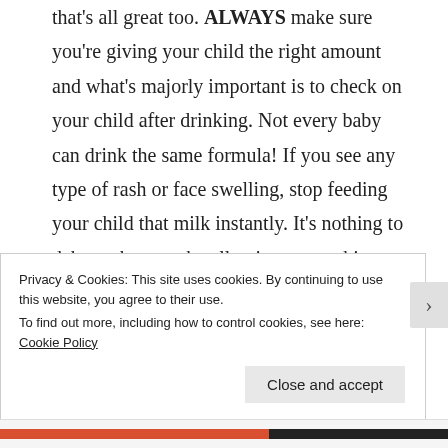that's all great too. ALWAYS make sure you're giving your child the right amount and what's majorly important is to check on your child after drinking. Not every baby can drink the same formula! If you see any type of rash or face swelling, stop feeding your child that milk instantly. It's nothing to debate, they can be allergic to something so rather than think it won't happen again, NO!
Privacy & Cookies: This site uses cookies. By continuing to use this website, you agree to their use.
To find out more, including how to control cookies, see here: Cookie Policy
Close and accept